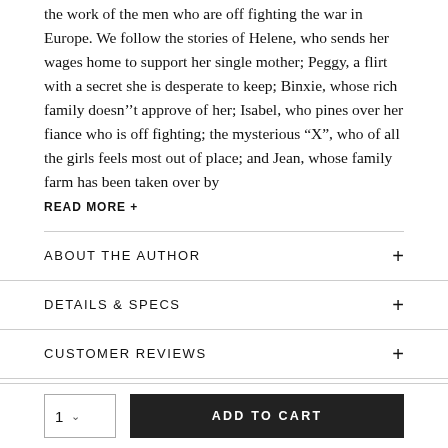the work of the men who are off fighting the war in Europe. We follow the stories of Helene, who sends her wages home to support her single mother; Peggy, a flirt with a secret she is desperate to keep; Binxie, whose rich family doesn''t approve of her; Isabel, who pines over her fiance who is off fighting; the mysterious "X", who of all the girls feels most out of place; and Jean, whose family farm has been taken over by
READ MORE +
ABOUT THE AUTHOR
DETAILS & SPECS
CUSTOMER REVIEWS
Editorial Reviews